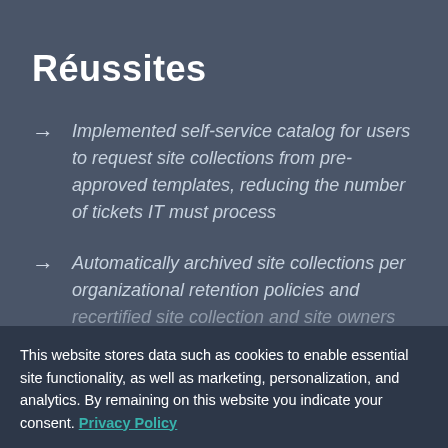Réussites
Implemented self-service catalog for users to request site collections from pre-approved templates, reducing the number of tickets IT must process
Automatically archived site collections per organizational retention policies and recertified site collection and site owners
This website stores data such as cookies to enable essential site functionality, as well as marketing, personalization, and analytics. By remaining on this website you indicate your consent. Privacy Policy
restored SharePoint content at the item